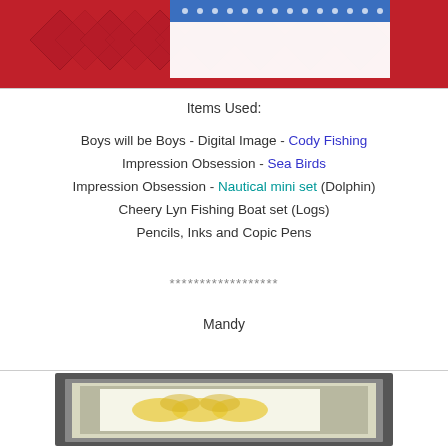[Figure (photo): Partial view of a handmade card with red diamond-patterned background and blue polka-dot border at top]
Items Used:
Boys will be Boys - Digital Image - Cody Fishing
Impression Obsession - Sea Birds
Impression Obsession - Nautical mini set (Dolphin)
Cheery Lyn Fishing Boat set (Logs)
Pencils, Inks and Copic Pens
******************
Mandy
[Figure (photo): Partial view of a handmade card with gray background and yellow floral design on white background]